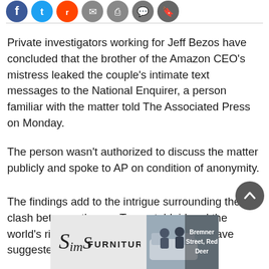[Figure (other): Row of social media sharing icons (Facebook, Twitter, Reddit, email, print, comment, bookmark) as colored circles]
Private investigators working for Jeff Bezos have concluded that the brother of the Amazon CEO's mistress leaked the couple's intimate text messages to the National Enquirer, a person familiar with the matter told The Associated Press on Monday.
The person wasn't authorized to discuss the matter publicly and spoke to AP on condition of anonymity.
The findings add to the intrigue surrounding the clash between the pro-Trump tabloid and the world's richest man. Bezos' investigators have suggested the Enquirer's
[Figure (other): Sims Furniture advertisement banner showing logo and 'Bremner Street, Red Deer' address with image of people on a couch]